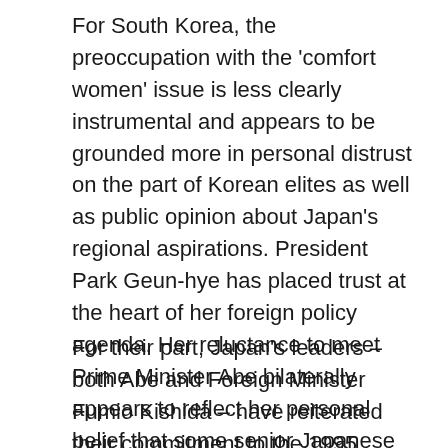For South Korea, the preoccupation with the 'comfort women' issue is less clearly instrumental and appears to be grounded more in personal distrust on the part of Korean elites as well as public opinion about Japan's regional aspirations. President Park Geun-hye has placed trust at the heart of her foreign policy agenda. Her reluctance to meet Prime Minister Abe bilaterally appears to reflect her personal belief that some senior Japanese politicians are disingenuous when they express remorse for Japan's wartime aggression.
For their part, Japan's leaders – both Abe and Foreign Minister Fumio Kishida – have reiterated their commitment to the 1995 statement of the